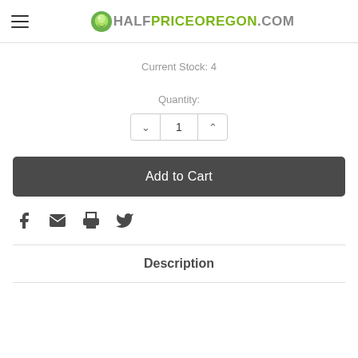HalfPrice Oregon.com
Current Stock: 4
Quantity:
1
Add to Cart
[Figure (other): Social share icons: Facebook, Email, Print, Twitter]
Description